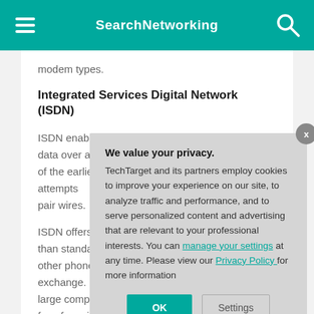SearchNetworking
modem types.
Integrated Services Digital Network (ISDN)
ISDN enables the transmission of both voice and data over a regular copper phone line. It was one of the earliest attempts pair wires.
ISDN offers faster than standard other phone systems exchange. For the large companies fees for using the transmission during.